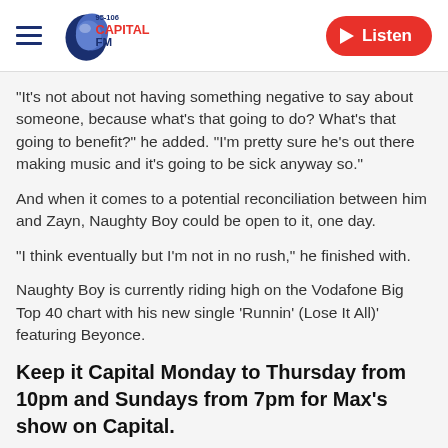Capital FM 95-106 | Listen
“It’s not about not having something negative to say about someone, because what’s that going to do? What’s that going to benefit?” he added. “I’m pretty sure he’s out there making music and it’s going to be sick anyway so.”
And when it comes to a potential reconciliation between him and Zayn, Naughty Boy could be open to it, one day.
“I think eventually but I’m not in no rush,” he finished with.
Naughty Boy is currently riding high on the Vodafone Big Top 40 chart with his new single ‘Runnin’ (Lose It All)’ featuring Beyonce.
Keep it Capital Monday to Thursday from 10pm and Sundays from 7pm for Max’s show on Capital.